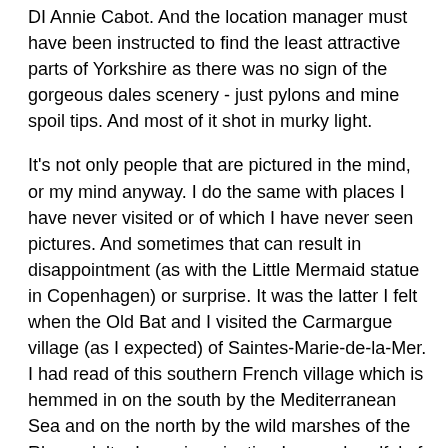DI Annie Cabot.  And the location manager must have been instructed to find the least attractive parts of Yorkshire as there was no sign of the gorgeous dales scenery - just pylons and mine spoil tips.  And most of it shot in murky light.
It's not only people that are pictured in the mind, or my mind anyway.  I do the same with places I have never visited or of which I have never seen pictures.  And sometimes that can result in disappointment (as with the Little Mermaid statue in Copenhagen) or surprise.  It was the latter I felt when the Old Bat and I visited the Carmargue village (as I expected) of Saintes-Marie-de-la-Mer.  I had read of this southern French village which is hemmed in on the south by the Mediterranean Sea and on the north by the wild marshes of the Rhone delta.  In my imagination I saw a handful of low cottages huddled against the elements, built in a line either side of a somewhat decrepit church on a bank barely above the level of both sea and marsh.  In May each year gypsies would arrive for their pilgrimage and festival when the village would come to life.
In reality, I drove along a wide highway with a scattering of